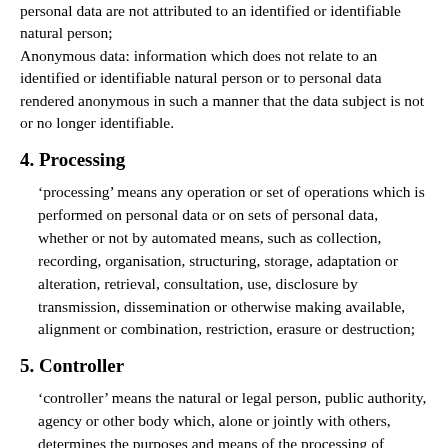personal data are not attributed to an identified or identifiable natural person; Anonymous data: information which does not relate to an identified or identifiable natural person or to personal data rendered anonymous in such a manner that the data subject is not or no longer identifiable.
4. Processing
‘processing’ means any operation or set of operations which is performed on personal data or on sets of personal data, whether or not by automated means, such as collection, recording, organisation, structuring, storage, adaptation or alteration, retrieval, consultation, use, disclosure by transmission, dissemination or otherwise making available, alignment or combination, restriction, erasure or destruction;
5. Controller
‘controller’ means the natural or legal person, public authority, agency or other body which, alone or jointly with others, determines the purposes and means of the processing of personal data; where the purposes and